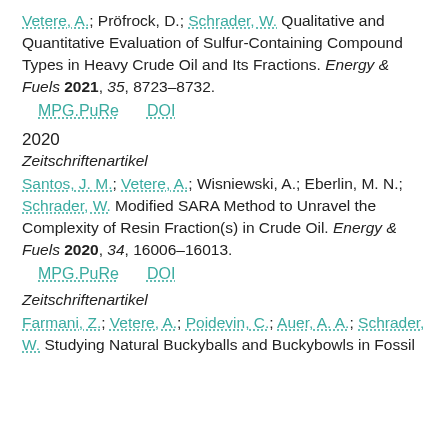Vetere, A.; Pröfrock, D.; Schrader, W. Qualitative and Quantitative Evaluation of Sulfur-Containing Compound Types in Heavy Crude Oil and Its Fractions. Energy & Fuels 2021, 35, 8723–8732.
MPG.PuRe   DOI
2020
Zeitschriftenartikel
Santos, J. M.; Vetere, A.; Wisniewski, A.; Eberlin, M. N.; Schrader, W. Modified SARA Method to Unravel the Complexity of Resin Fraction(s) in Crude Oil. Energy & Fuels 2020, 34, 16006–16013.
MPG.PuRe   DOI
Zeitschriftenartikel
Farmani, Z.; Vetere, A.; Poidevin, C.; Auer, A. A.; Schrader, W. Studying Natural Buckyballs and Buckybowls in Fossil